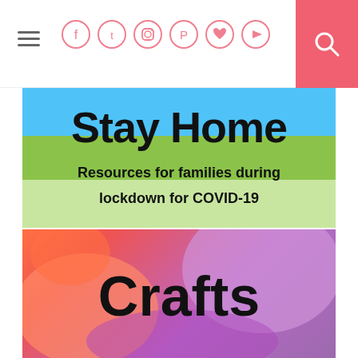Navigation header with hamburger menu, social icons (Facebook, Twitter, Instagram, Pinterest, Bloglovin, YouTube), and search button
[Figure (illustration): Stay Home banner: colorful background (blue, green, yellow) with bold text 'Stay Home' and subtitle 'Resources for families during lockdown for COVID-19']
[Figure (photo): Crafts category banner: colorful painted background with large bold text 'Crafts']
[Figure (photo): Sensory Play category banner: sandy/powdery texture background with large bold text 'Sensory Play']
[Figure (photo): Book Activities category banner: colorful books background with large bold text 'Book Activities']